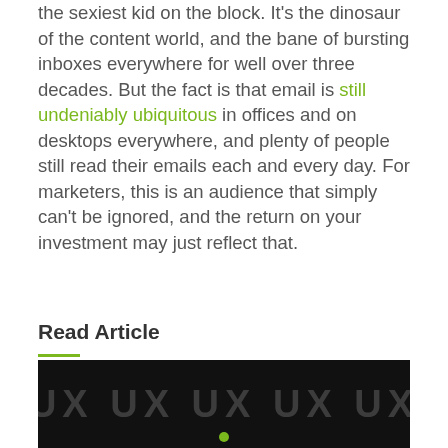the sexiest kid on the block. It's the dinosaur of the content world, and the bane of bursting inboxes everywhere for well over three decades. But the fact is that email is still undeniably ubiquitous in offices and on desktops everywhere, and plenty of people still read their emails each and every day. For marketers, this is an audience that simply can't be ignored, and the return on your investment may just reflect that.
Read Article
[Figure (other): Dark banner image with repeating 'UX' text in large grey letters on black background, with a small green dot at the bottom center]